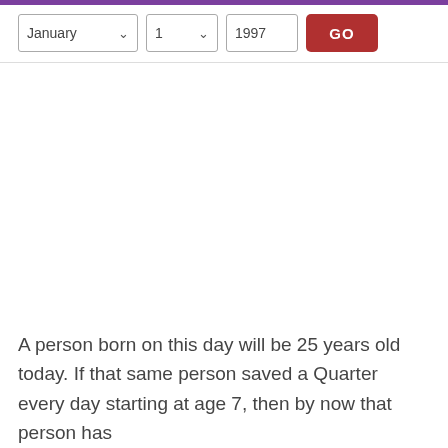January  1  1997  GO
A person born on this day will be 25 years old today. If that same person saved a Quarter every day starting at age 7, then by now that person has